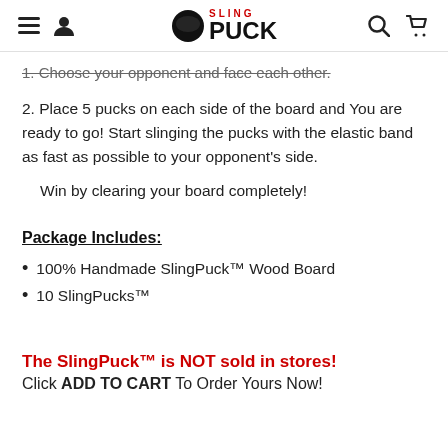SlingPuck
1. Choose your opponent and face each other.
2. Place 5 pucks on each side of the board and You are ready to go! Start slinging the pucks with the elastic band as fast as possible to your opponent's side.
Win by clearing your board completely!
Package Includes:
100% Handmade SlingPuck™ Wood Board
10 SlingPucks™
The SlingPuck™ is NOT sold in stores!
Click ADD TO CART To Order Yours Now!